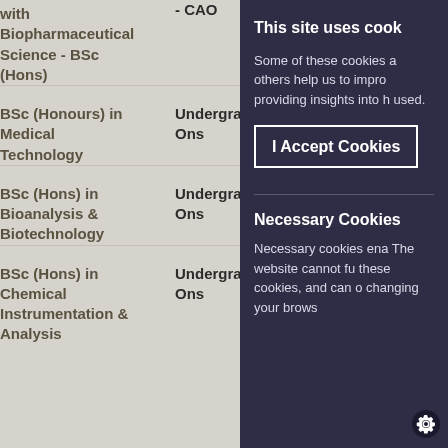| Course Name | Type |
| --- | --- |
| with Biopharmaceutical Science - BSc (Hons) | - CAO |
| BSc (Honours) in Medical Technology | Undergraduate Ons |
| BSc (Hons) in Bioanalysis & Biotechnology | Undergraduate Ons |
| BSc (Hons) in Chemical Instrumentation & Analysis | Undergraduate Ons |
This site uses cook
Some of these cookies a others help us to impro providing insights into h used.
I Accept Cookies
Necessary Cookies
Necessary cookies ena The website cannot fu these cookies, and can changing your brows